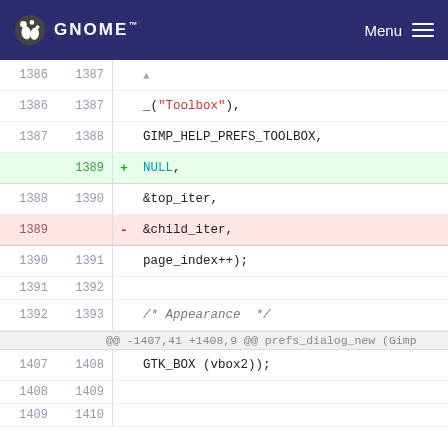GNOME   Menu
Code diff view showing lines 1386-1410 of a GIMP source file
1386 1387    _("Toolbox"),
1387 1388    GIMP_HELP_PREFS_TOOLBOX,
1389 +  NULL,
1388 1390    &top_iter,
1389    -  &child_iter,
1390 1391    page_index++);
1391 1392
1392 1393    /* Appearance */
... ...   @@ -1407,41 +1408,9 @@ prefs_dialog_new (Gimp *gimp,
1407 1408    GTK_BOX (vbox2));
1408 1409
1409 1410